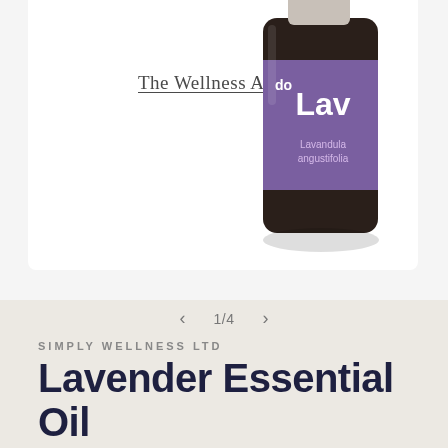[Figure (photo): Product image area showing a lavender essential oil bottle from doTERRA. The bottle has a dark amber/brown glass design with a purple label showing 'Lavender' and 'Lavandula angustifolia'. Partial view cropped at top.]
The Wellness Advocate
1/4
SIMPLY WELLNESS LTD
Lavender Essential Oil
$44.00 NZD
Tax included.
Quantity
1